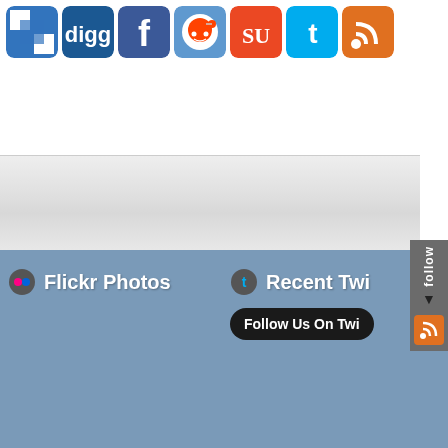[Figure (screenshot): Social sharing icons row: del.icio.us/Delicious, Digg, Facebook, Reddit, StumbleUpon, Twitter, RSS]
[Figure (screenshot): Gray banner/advertisement area]
[Figure (screenshot): Right-side vertical follow panel with RSS icon]
Flickr Photos
Recent Twi...
Follow Us On Twi...